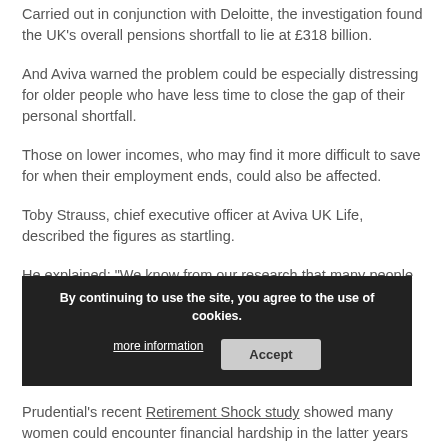Carried out in conjunction with Deloitte, the investigation found the UK's overall pensions shortfall to lie at £318 billion.
And Aviva warned the problem could be especially distressing for older people who have less time to close the gap of their personal shortfall.
Those on lower incomes, who may find it more difficult to save for when their employment ends, could also be affected.
Toby Strauss, chief executive officer at Aviva UK Life, described the figures as startling.
He explained: "We know from our research that many people in the UK are planning to work later into life, but this will not solve the issue fully."
Prudential's recent Retirement Shock study showed many women could encounter financial hardship in the latter years
By continuing to use the site, you agree to the use of cookies.
more information   Accept